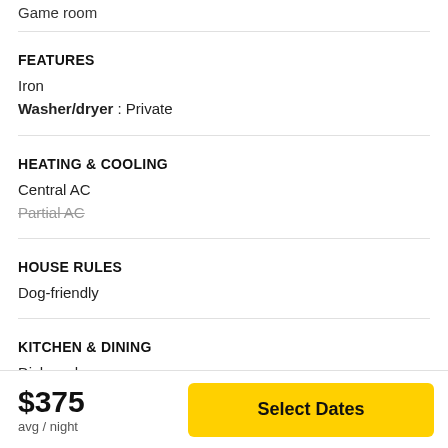Game room
FEATURES
Iron
Washer/dryer : Private
HEATING & COOLING
Central AC
Partial AC (strikethrough)
HOUSE RULES
Dog-friendly
KITCHEN & DINING
Dishwasher
Fridge
$375
avg / night
Select Dates